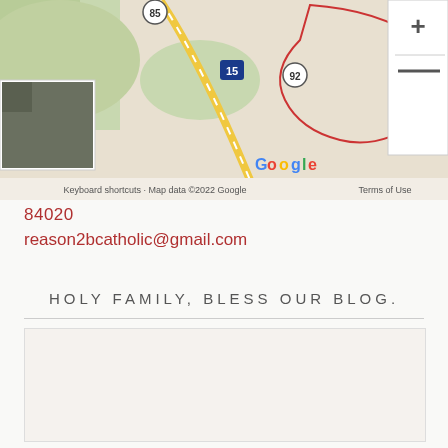[Figure (map): Google Maps screenshot showing area with highway 15, route 85, route 92, zoom controls (+/-), a small thumbnail image in top-left corner, and footer text 'Keyboard shortcuts · Map data ©2022 Google  Terms of Use']
84020
reason2bcatholic@gmail.com
HOLY FAMILY, BLESS OUR BLOG.
[Figure (other): Blog widget or image placeholder box with light beige background]